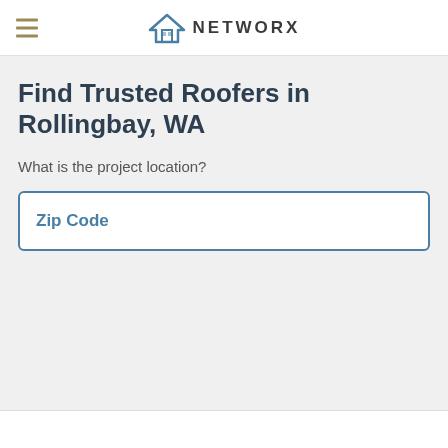NETWORX
Find Trusted Roofers in Rollingbay, WA
What is the project location?
Zip Code
Next